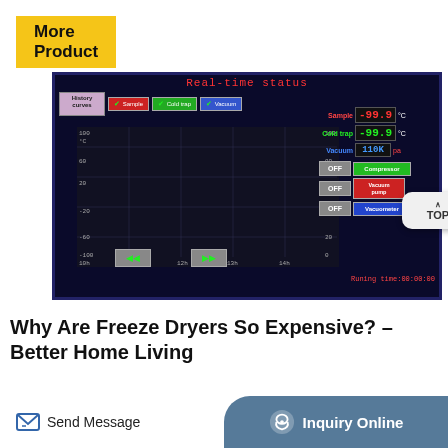More Product
[Figure (screenshot): Real-time status screen of a freeze dryer control interface showing temperature and vacuum readings: Sample -99.9°C, Cold trap -99.9°C, Vacuum 110K Pa. Chart area shows time axis 10h-14h with temperature axes. Control buttons: Compressor (green/OFF), Vacuum pump (red/OFF), Vacuometer (blue/OFF). Running time: 00:00:00]
Why Are Freeze Dryers So Expensive? – Better Home Living
Send Message
Inquiry Online